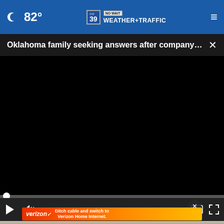82° CW39 NO WAIT WEATHER+TRAFFIC
Oklahoma family seeking answers after company l...
[Figure (screenshot): Black video player with progress bar at bottom showing 00:00 timestamp, play button, mute button, captions button, and fullscreen button]
[Figure (photo): Advertisement overlay showing Verizon ad: Ditch cable and switch to Verizon Home Internet, on gradient orange/red background, with close button]
Ditch cable and switch to Verizon Home Internet.